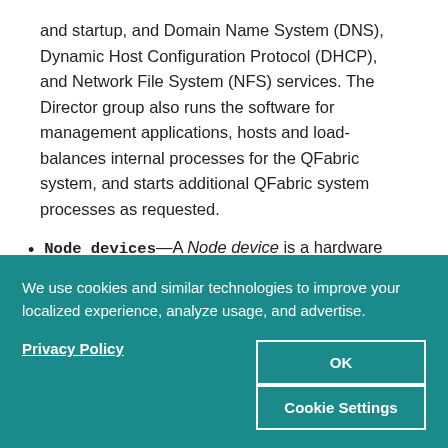and startup, and Domain Name System (DNS), Dynamic Host Configuration Protocol (DHCP), and Network File System (NFS) services. The Director group also runs the software for management applications, hosts and load-balances internal processes for the QFabric system, and starts additional QFabric system processes as requested.
Node devices—A Node device is a hardware system located on the ingress of the QFabric system that
We use cookies and similar technologies to improve your localized experience, analyze usage, and advertise.
Privacy Policy
OK
Cookie Settings